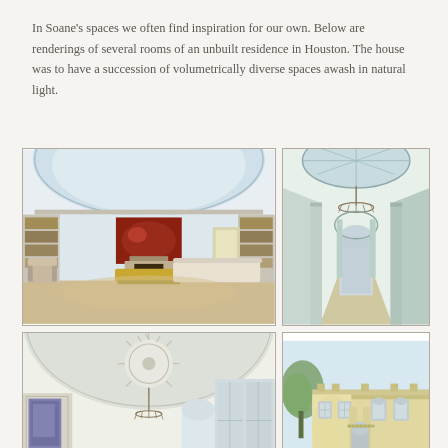In Soane's spaces we often find inspiration for our own. Below are renderings of several rooms of an unbuilt residence in Houston. The house was to have a succession of volumetrically diverse spaces awash in natural light.
[Figure (illustration): Architectural rendering of an elegant oval drawing room with domed ceiling, fireplace, bookshelves, sofas, and a colorful painting]
[Figure (illustration): Architectural rendering of a formal corridor/hall with arched ceiling, skylight, chandelier, and arched doorway at far end]
[Figure (illustration): Architectural rendering of an interior room with vaulted ceiling, starburst medallion, chandelier, and tall windows]
[Figure (illustration): Architectural rendering of the exterior facade of a neoclassical Houston residence with columns, arched windows, and ornate details]